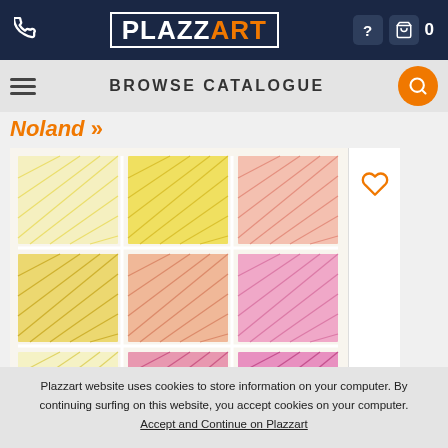PLAZZART
BROWSE CATALOGUE
Noland »
[Figure (photo): Artwork showing a 3x3 grid of colored pencil hatching panels ranging from pale yellow in the top left to deep pink/red in the bottom right, creating a gradient color pattern.]
Plazzart website uses cookies to store information on your computer. By continuing surfing on this website, you accept cookies on your computer. Accept and Continue on Plazzart